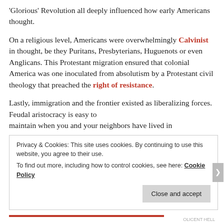'Glorious' Revolution all deeply influenced how early Americans thought.
On a religious level, Americans were overwhelmingly Calvinist in thought, be they Puritans, Presbyterians, Huguenots or even Anglicans. This Protestant migration ensured that colonial America was one inoculated from absolutism by a Protestant civil theology that preached the right of resistance.
Lastly, immigration and the frontier existed as liberalizing forces. Feudal aristocracy is easy to maintain when you and your neighbors have lived in
Privacy & Cookies: This site uses cookies. By continuing to use this website, you agree to their use.
To find out more, including how to control cookies, see here: Cookie Policy